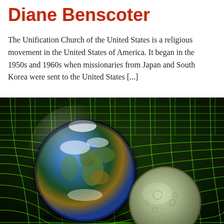Diane Benscoter
The Unification Church of the United States is a religious movement in the United States of America. It began in the 1950s and 1960s when missionaries from Japan and South Korea were sent to the United States [...]
[Figure (illustration): Scientific illustration showing Earth and Moon resting on a green grid mesh representing spacetime curvature, on a dark background. Earth appears on the left with blue oceans and brown continents, Moon appears on the lower right in grey tones. The green grid lines curve downward under both bodies suggesting gravitational wells.]